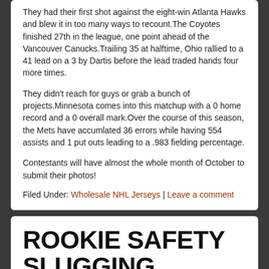They had their first shot against the eight-win Atlanta Hawks and blew it in too many ways to recount.The Coyotes finished 27th in the league, one point ahead of the Vancouver Canucks.Trailing 35 at halftime, Ohio rallied to a 41 lead on a 3 by Dartis before the lead traded hands four more times.
They didn't reach for guys or grab a bunch of projects.Minnesota comes into this matchup with a 0 home record and a 0 overall mark.Over the course of this season, the Mets have accumlated 36 errors while having 554 assists and 1 put outs leading to a .983 fielding percentage.
Contestants will have almost the whole month of October to submit their photos!
Filed Under: Wholesale NHL Jerseys | Leave a comment
ROOKIE SAFETY SLUGGING PERCENTAGE OF 681 HEALTHY YANKEES ICON